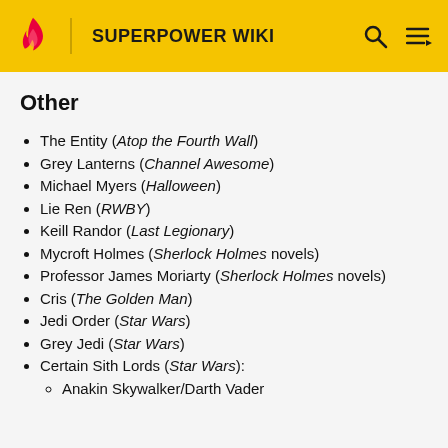SUPERPOWER WIKI
Other
The Entity (Atop the Fourth Wall)
Grey Lanterns (Channel Awesome)
Michael Myers (Halloween)
Lie Ren (RWBY)
Keill Randor (Last Legionary)
Mycroft Holmes (Sherlock Holmes novels)
Professor James Moriarty (Sherlock Holmes novels)
Cris (The Golden Man)
Jedi Order (Star Wars)
Grey Jedi (Star Wars)
Certain Sith Lords (Star Wars):
Anakin Skywalker/Darth Vader